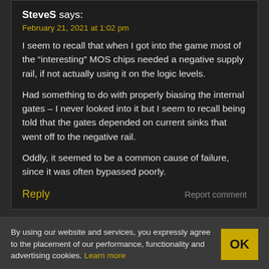SteveS says:
February 21, 2021 at 1:02 pm
I seem to recall that when I got into the game most of the “interesting” MOS chips needed a negative supply rail, if not actually using it on the logic levels.
Had something to do with properly biasing the internal gates – I never looked into it but I seem to recall being told that the gates depended on current sinks that went off to the negative rail.
Oddly, it seemed to be a common cause of failure, since it was often bypassed poorly.
Reply
Report comment
By using our website and services, you expressly agree to the placement of our performance, functionality and advertising cookies. Learn more